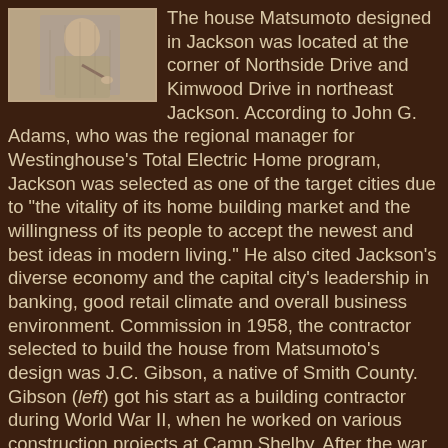[Figure (photo): Black and white photograph of a person, partially visible, upper left corner of the page.]
The house Matsumoto designed in Jackson was located at the corner of Northside Drive and Kimwood Drive in northeast Jackson. According to John G. Adams, who was the regional manager for Westinghouse’s Total Electric Home program, Jackson was selected as one of the target cities due to “the vitality of its home building market and the willingness of its people to accept the newest and best ideas in modern living.” He also cited Jackson’s diverse economy and the capital city’s leadership in banking, good retail climate and overall business environment. Commission in 1958, the contractor selected to build the house from Matsumoto’s design was J.C. Gibson, a native of Smith County. Gibson (left) got his start as a building contractor during World War II, when he worked on various construction projects at Camp Shelby. After the war, he moved to Jackson and in 1951 started his own construction firm. By 1960, when the Westinghouse Gold Medallion house was completed, Gibson had built more than 350 homes in the Jackson area, usually in partnership with McGehee Realty.